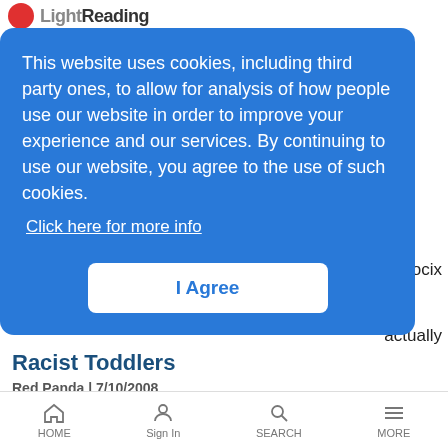LightReading
This website uses cookies, including third party ones, to allow for analysis of how people use our website in order to improve your experience and our services. By continuing to use our website, you agree to the use of such cookies.
Click here for more info
I Agree
ocix
actually
Racist Toddlers
Red Panda | 7/10/2008
Yep, you read that right
TranSwitch Sweeps Up Centilllium
HOME   Sign In   SEARCH   MORE